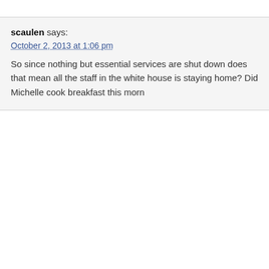scaulen says: October 2, 2013 at 1:06 pm So since nothing but essential services are shut down does that mean all the staff in the white house is staying home? Did Michelle cook breakfast this morn